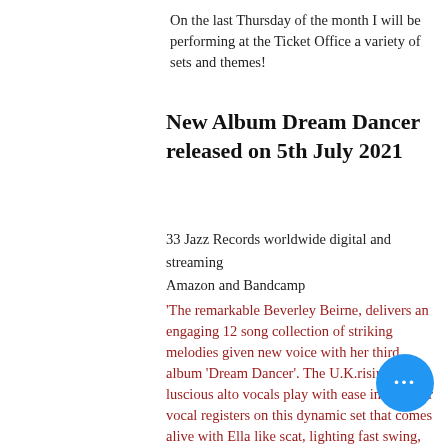On the last Thursday of the month I will be performing at the Ticket Office a variety of sets and themes!
New Album Dream Dancer released on 5th July 2021
33 Jazz Records worldwide digital and streaming
Amazon and Bandcamp
'The remarkable Beverley Beirne, delivers an engaging 12 song collection of striking melodies given new voice with her third album 'Dream Dancer'. The U.K.rising star's luscious alto vocals play with ease into higher vocal registers on this dynamic set that comes alive with Ella like scat, lighting fast swing, soulful samba, a surprise Brazilian tune and exquisite ballads in this exciting, eclectic album that creates a lasting mark with astonishing